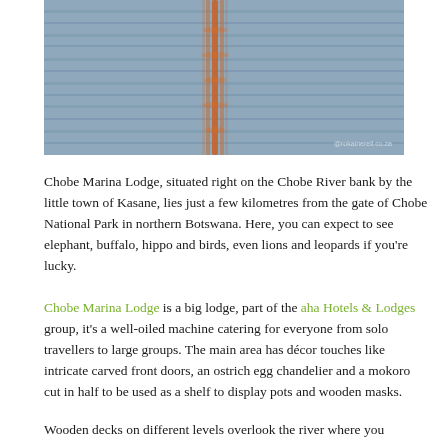[Figure (photo): Sunset or sunrise reflection on water (possibly the Chobe River), showing rippling blue-grey water with an orange-golden vertical reflection streak in the centre. Watermark '@rokainerell.co.za' visible in lower right.]
Chobe Marina Lodge, situated right on the Chobe River bank by the little town of Kasane, lies just a few kilometres from the gate of Chobe National Park in northern Botswana. Here, you can expect to see elephant, buffalo, hippo and birds, even lions and leopards if you're lucky.
Chobe Marina Lodge is a big lodge, part of the aha Hotels & Lodges group, it's a well-oiled machine catering for everyone from solo travellers to large groups. The main area has décor touches like intricate carved front doors, an ostrich egg chandelier and a mokoro cut in half to be used as a shelf to display pots and wooden masks.
Wooden decks on different levels overlook the river where you